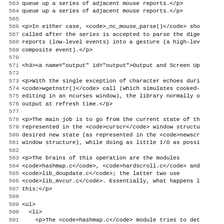563 (partial): queue up a series of adjacent mouse reports.</p>
564: queue up a series of adjacent mouse reports.</p>
565: (empty)
566: <p>In either case, <code>_nc_mouse_parse()</code> sho
567: called after the series is accepted to parse the dige
568: reports (low-level events) into a gesture (a high-lev
569: composite event).</p>
570: (empty)
571: <h3><a name="output" id="output">Output and Screen Up
572: (empty)
573: <p>With the single exception of character echoes duri
574: <code>wgetnstr()</code> call (which simulates cooked-
575: editing in an ncurses window), the library normally o
576: output at refresh time.</p>
577: (empty)
578: <p>The main job is to go from the current state of th
579: represented in the <code>curscr</code> window structu
580: desired new state (as represented in the <code>newscr
581: window structure), while doing as little I/O as possi
582: (empty)
583: <p>The brains of this operation are the modules
584: <code>hashmap.c</code>, <code>hardscroll.c</code> and
585: <code>lib_doupdate.c</code>; the latter two use
586: <code>lib_mvcur.c</code>. Essentially, what happens l
587: this:</p>
588: (empty)
589: <ul>
590:   <li>
591:     <p>The <code>hashmap.c</code> module tries to det
592:     motion changes between the real and virtual scree
593:     information is represented by the oldindex member
594:     newscr structure. These are modified by vertical-
595:     clear operations. and both are re-initialized aft